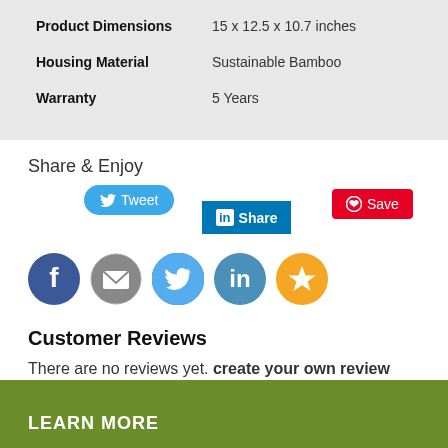| Property | Value |
| --- | --- |
| Product Dimensions | 15 x 12.5 x 10.7 inches |
| Housing Material | Sustainable Bamboo |
| Warranty | 5 Years |
Share & Enjoy
[Figure (infographic): Social sharing buttons: Tweet (Twitter), Share (LinkedIn), Save (Pinterest), plus icon row: Facebook, Email, Twitter, LinkedIn, Bookmark/Star]
Customer Reviews
There are no reviews yet. create your own review
LEARN MORE